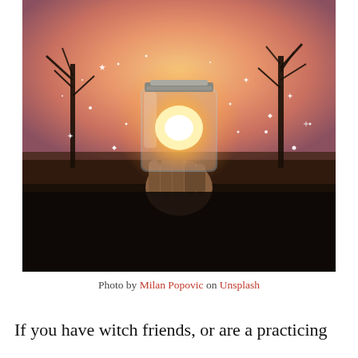[Figure (photo): A hand holding up a glass mason jar against a sunset sky. The jar appears to glow with golden light from the sunset behind it. Sparkling light particles surround the jar. Bare tree silhouettes and dark ground are visible in the background.]
Photo by Milan Popovic on Unsplash
If you have witch friends, or are a practicing